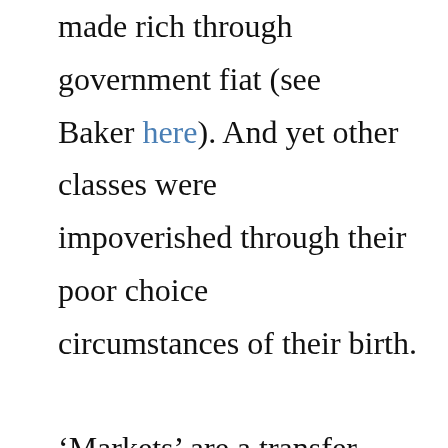made rich through government fiat (see Baker here). And yet other classes were impoverished through their poor choices circumstances of their birth.

'Markets' are a transfer mechanism; the The imbalance of market power behind is instructive. One group of capitalists acres of farmland and has access to the needed to move millions of bushels of America. Another has the land they liv